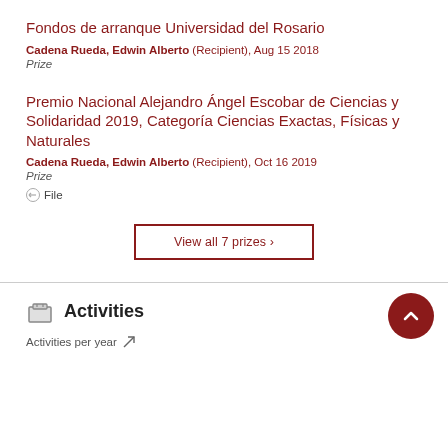Fondos de arranque Universidad del Rosario
Cadena Rueda, Edwin Alberto (Recipient), Aug 15 2018
Prize
Premio Nacional Alejandro Ángel Escobar de Ciencias y Solidaridad 2019, Categoría Ciencias Exactas, Físicas y Naturales
Cadena Rueda, Edwin Alberto (Recipient), Oct 16 2019
Prize
File
View all 7 prizes ›
Activities
Activities per year